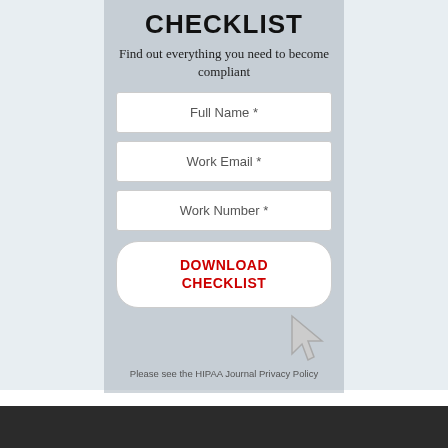CHECKLIST
Find out everything you need to become compliant
[Figure (infographic): HIPAA Compliance Checklist signup form with fields for Full Name, Work Email, Work Number, and a Download Checklist button with a cursor icon]
Please see the HIPAA Journal Privacy Policy